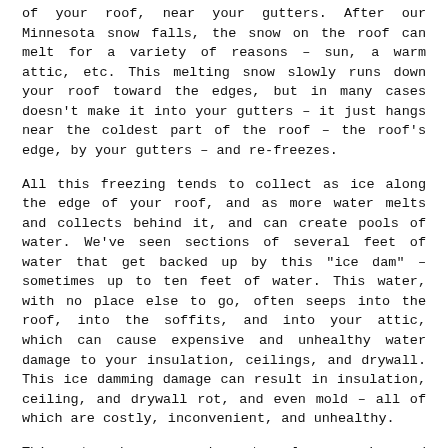of your roof, near your gutters. After our Minnesota snow falls, the snow on the roof can melt for a variety of reasons – sun, a warm attic, etc. This melting snow slowly runs down your roof toward the edges, but in many cases doesn't make it into your gutters – it just hangs near the coldest part of the roof – the roof's edge, by your gutters – and re-freezes.
All this freezing tends to collect as ice along the edge of your roof, and as more water melts and collects behind it, and can create pools of water. We've seen sections of several feet of water that get backed up by this "ice dam" – sometimes up to ten feet of water. This water, with no place else to go, often seeps into the roof, into the soffits, and into your attic, which can cause expensive and unhealthy water damage to your insulation, ceilings, and drywall. This ice damming damage can result in insulation, ceiling, and drywall rot, and even mold – all of which are costly, inconvenient, and unhealthy.
This water damage can be extremely expensive and inconvenient, not to mention unsafe. Historically, insurance companies